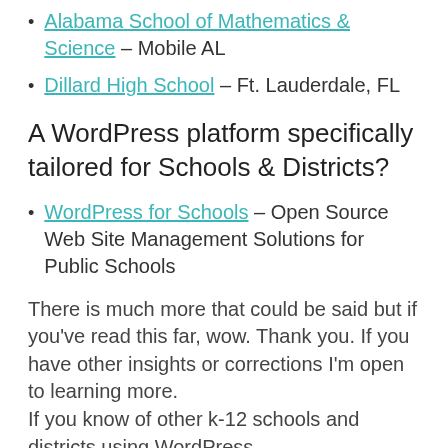Alabama School of Mathematics & Science – Mobile AL
Dillard High School – Ft. Lauderdale, FL
A WordPress platform specifically tailored for Schools & Districts?
WordPress for Schools – Open Source Web Site Management Solutions for Public Schools
There is much more that could be said but if you've read this far, wow. Thank you. If you have other insights or corrections I'm open to learning more. If you know of other k-12 schools and districts using WordPress,